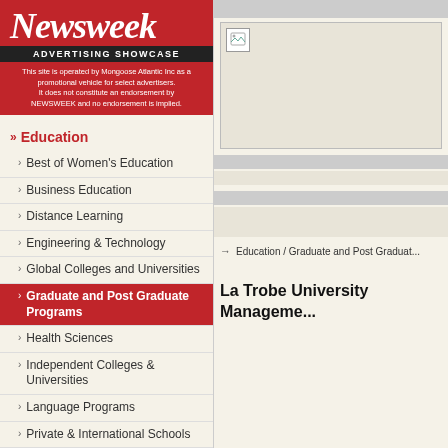[Figure (logo): Newsweek logo in red header]
ADVERTISING SHOWCASE
This site is operated by Mongoose Atlantic Inc as a promotional vehicle for select advertisers. It does not constitute an endorsement by NEWSWEEK and no endorsement is implied.
Education
Best of Women's Education
Business Education
Distance Learning
Engineering & Technology
Global Colleges and Universities
Graduate and Post Graduate Programs
Health Sciences
Independent Colleges & Universities
Language Programs
Private & International Schools
Public Affairs and Administration
Social Work
[Figure (screenshot): Broken image placeholder in right column content area]
Education / Graduate and Post Graduat...
La Trobe University Manageme...